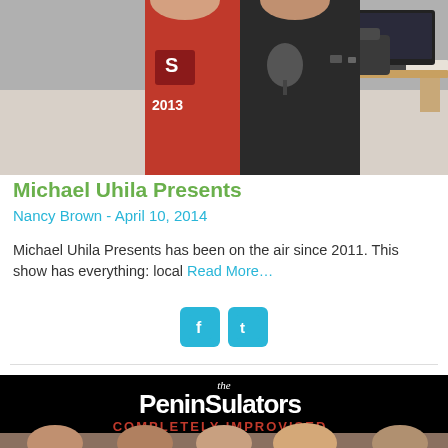[Figure (photo): Two people standing, one wearing a red Stanford 2013 t-shirt, another in black jacket; office setting with desk and monitor in background]
Michael Uhila Presents
Nancy Brown - April 10, 2014
Michael Uhila Presents has been on the air since 2011. This show has everything: local Read More…
[Figure (infographic): Social media icons: Facebook (f) and Twitter (bird) buttons in cyan/blue rounded squares]
[Figure (photo): The Peninsulators - Completely Improvised comedy group promotional image showing text on black background with group members' faces at bottom]